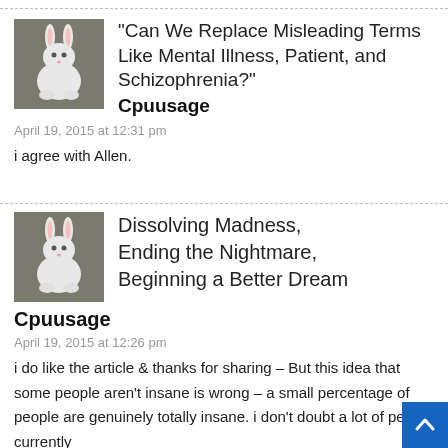[Figure (illustration): White rabbit avatar image for user Cpuusage]
"Can We Replace Misleading Terms Like Mental Illness, Patient, and Schizophrenia?"
Cpuusage
April 19, 2015 at 12:31 pm
i agree with Allen.
[Figure (illustration): White rabbit avatar image for user Cpuusage]
Dissolving Madness, Ending the Nightmare, Beginning a Better Dream
Cpuusage
April 19, 2015 at 12:26 pm
i do like the article & thanks for sharing – But this idea that some people aren't insane is wrong – a small percentage of people are genuinely totally insane. i don't doubt a lot of people currently